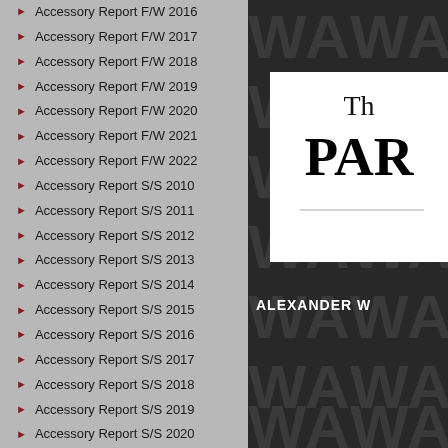Accessory Report F/W 2016
Accessory Report F/W 2017
Accessory Report F/W 2018
Accessory Report F/W 2019
Accessory Report F/W 2020
Accessory Report F/W 2021
Accessory Report F/W 2022
Accessory Report S/S 2010
Accessory Report S/S 2011
Accessory Report S/S 2012
Accessory Report S/S 2013
Accessory Report S/S 2014
Accessory Report S/S 2015
Accessory Report S/S 2016
Accessory Report S/S 2017
Accessory Report S/S 2018
Accessory Report S/S 2019
Accessory Report S/S 2020
Accessory Report S/S 2021
Accessory Report S/S 2022
Advertising Campaigns
Animals
Art
[Figure (screenshot): Dark background with repeating 'WA' letters pattern, white box showing 'The PAR' text in serif font, 'ALEXANDER W' label in bold white at bottom]